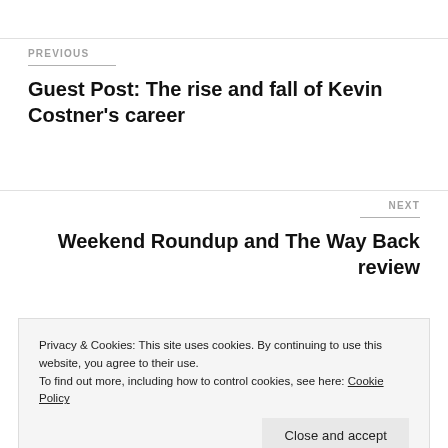PREVIOUS
Guest Post: The rise and fall of Kevin Costner's career
NEXT
Weekend Roundup and The Way Back review
Privacy & Cookies: This site uses cookies. By continuing to use this website, you agree to their use.
To find out more, including how to control cookies, see here: Cookie Policy
Close and accept